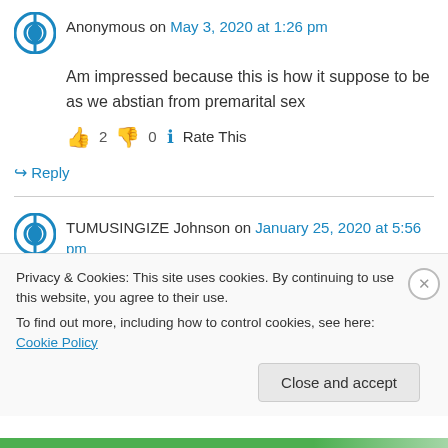Anonymous on May 3, 2020 at 1:26 pm
Am impressed because this is how it suppose to be as we abstian from premarital sex
👍 2 👎 0 ℹ Rate This
↪ Reply
TUMUSINGIZE Johnson on January 25, 2020 at 5:56 pm
I have liked this advice as am still a virgin too at
Privacy & Cookies: This site uses cookies. By continuing to use this website, you agree to their use. To find out more, including how to control cookies, see here: Cookie Policy
Close and accept